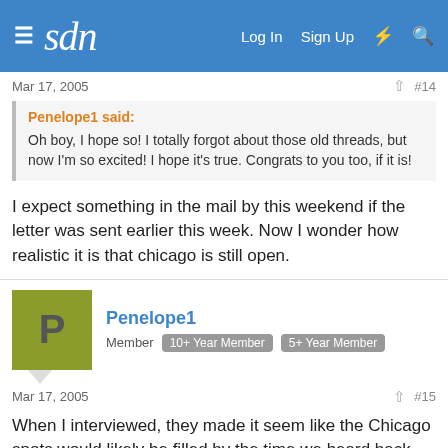sdn — Log In  Sign Up
Mar 17, 2005  #14
Penelope1 said:
Oh boy, I hope so! I totally forgot about those old threads, but now I'm so excited! I hope it's true. Congrats to you too, if it is!
I expect something in the mail by this weekend if the letter was sent earlier this week. Now I wonder how realistic it is that chicago is still open.
Penelope1
Member  10+ Year Member  5+ Year Member
Mar 17, 2005  #15
When I interviewed, they made it seem like the Chicago spots would likely be filled by the time we heard back (although they weren't definite about it), but it sounded like we were right on the